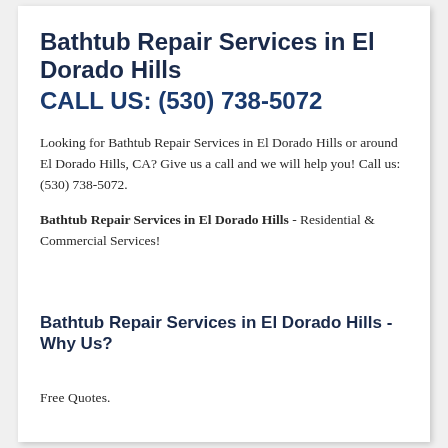Bathtub Repair Services in El Dorado Hills
CALL US: (530) 738-5072
Looking for Bathtub Repair Services in El Dorado Hills or around El Dorado Hills, CA? Give us a call and we will help you! Call us: (530) 738-5072.
Bathtub Repair Services in El Dorado Hills - Residential & Commercial Services!
Bathtub Repair Services in El Dorado Hills - Why Us?
Free Quotes.